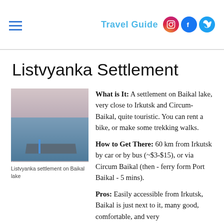Travel Guide
Listvyanka Settlement
[Figure (photo): Photo of Listvyanka settlement on Baikal lake, showing a pier/dock extending into the lake with water and sky visible]
Listvyanka settlement on Baikal lake
What is It: A settlement on Baikal lake, very close to Irkutsk and Circum-Baikal, quite touristic. You can rent a bike, or make some trekking walks.
How to Get There: 60 km from Irkutsk by car or by bus (~$3-$15), or via Circum Baikal (then - ferry form Port Baikal - 5 mins).
Pros: Easily accessible from Irkutsk, Baikal is just next to it, many good, comfortable, and very